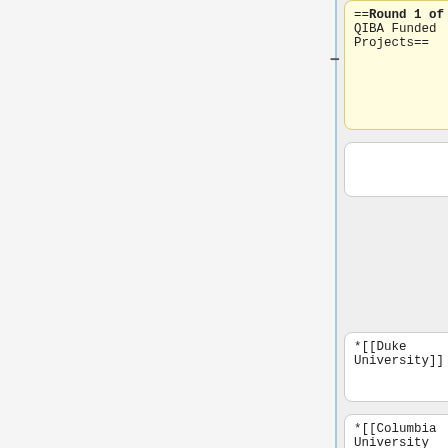==Round 1 of QIBA Funded Projects==
'''Round 1'''
*[[Duke University]]
*[[Duke University]]
*[[Columbia University Medical Center]]
*[[Columbia University Medical Center]]
Line 101:
Line 78:
*[[CoreLab Partners, Inc.]]
*[[CoreLab Partners, Inc.]]